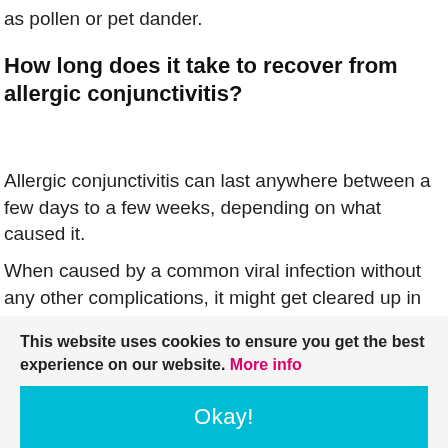as pollen or pet dander.
How long does it take to recover from allergic conjunctivitis?
Allergic conjunctivitis can last anywhere between a few days to a few weeks, depending on what caused it.
When caused by a common viral infection without any other complications, it might get cleared up in just a few days or within a couple of weeks.
This website uses cookies to ensure you get the best experience on our website. More info
Okay!